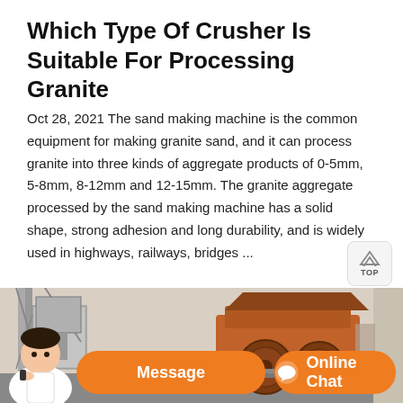Which Type Of Crusher Is Suitable For Processing Granite
Oct 28, 2021 The sand making machine is the common equipment for making granite sand, and it can process granite into three kinds of aggregate products of 0-5mm, 5-8mm, 8-12mm and 12-15mm. The granite aggregate processed by the sand making machine has a solid shape, strong adhesion and long durability, and is widely used in highways, railways, bridges ...
[Figure (photo): Industrial granite crusher machinery at a processing plant, showing large orange/rust-colored crusher equipment with flywheel, conveyor structures, and a concrete wall in the background.]